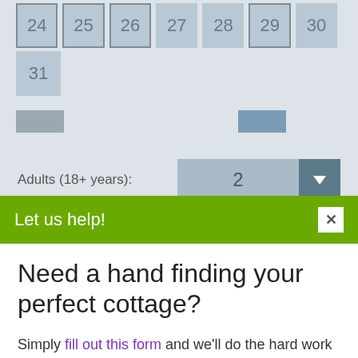[Figure (screenshot): Partial calendar view showing dates 24-31 in rows with blue-gray cell styling, some cells with borders. Navigation buttons visible below.]
Let us help!
Need a hand finding your perfect cottage?
Simply fill out this form and we'll do the hard work for you.
Adults (18+ years): 2
Children (2-17 years): 0